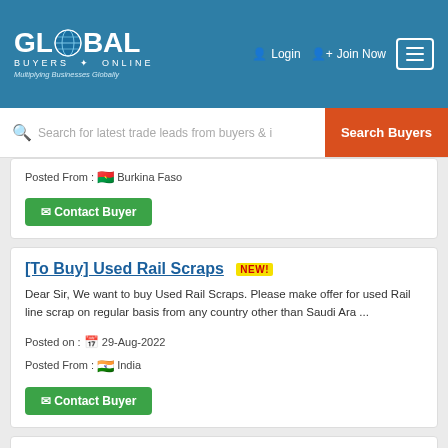GLOBAL BUYERS ONLINE – Multiplying Businesses Globally | Login | Join Now
Search for latest trade leads from buyers & i  Search Buyers
Posted From : Burkina Faso
Contact Buyer
[To Buy] Used Rail Scraps  NEW!
Dear Sir, We want to buy Used Rail Scraps. Please make offer for used Rail line scrap on regular basis from any country other than Saudi Ara ...
Posted on : 29-Aug-2022
Posted From : India
Contact Buyer